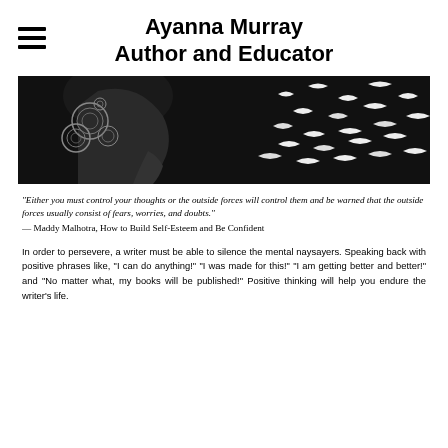Ayanna Murray Author and Educator
[Figure (photo): Black and white photo of a woman's profile with ornate headpiece on the left, and birds flying on the right against a dark background]
"Either you must control your thoughts or the outside forces will control them and be warned that the outside forces usually consist of fears, worries, and doubts."
— Maddy Malhotra, How to Build Self-Esteem and Be Confident
In order to persevere, a writer must be able to silence the mental naysayers. Speaking back with positive phrases like, "I can do anything!" "I was made for this!" "I am getting better and better!" and "No matter what, my books will be published!" Positive thinking will help you endure the writer's life.